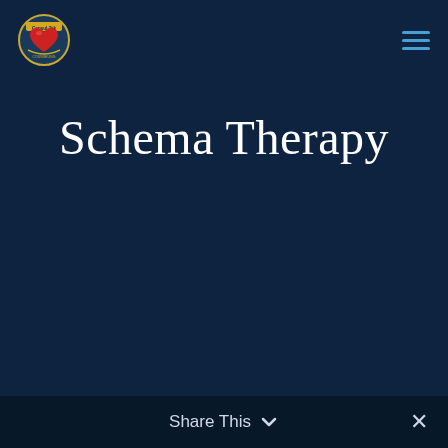[Figure (logo): Circular organization logo with red heart and text, on dark blue background]
Schema Therapy
Share This  ✕